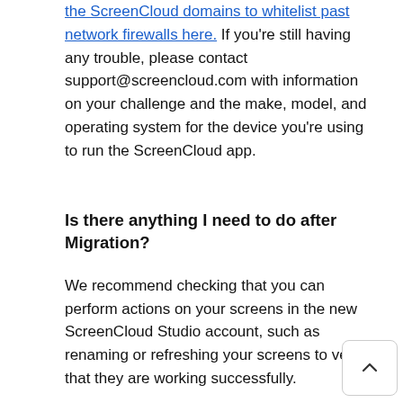the ScreenCloud domains to whitelist past network firewalls here. If you're still having any trouble, please contact support@screencloud.com with information on your challenge and the make, model, and operating system for the device you're using to run the ScreenCloud app.
Is there anything I need to do after Migration?
We recommend checking that you can perform actions on your screens in the new ScreenCloud Studio account, such as renaming or refreshing your screens to verify that they are working successfully.
Are there any hardware limitations on ScreenCloud Studio?